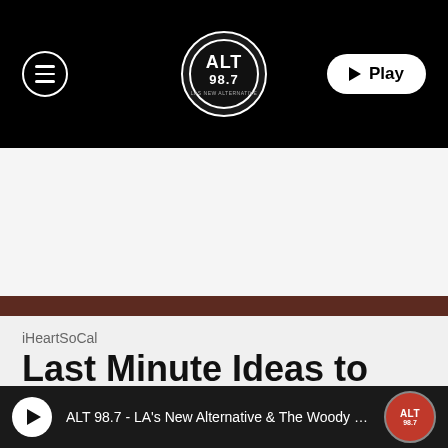[Figure (screenshot): Black navigation bar with hamburger menu button on left, ALT 98.7 circular logo in center, and Play button on right]
[Figure (screenshot): Dark brown profile banner with iHeart Media logo on left, iHeartSoCal name and Bio button on right]
iHeartSoCal
Last Minute Ideas to Treat
[Figure (screenshot): Bottom audio player bar with play button, text 'ALT 98.7 - LA's New Alternative & The Woody Show', and ALT 98.7 logo]